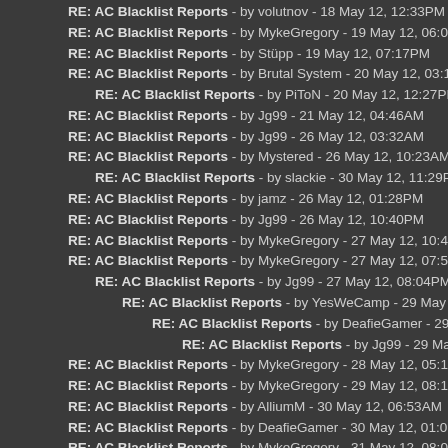RE: AC Blacklist Reports - by volutnov - 18 May 12, 12:33PM
RE: AC Blacklist Reports - by MykeGregory - 19 May 12, 06:07PM
RE: AC Blacklist Reports - by Stüpp - 19 May 12, 07:17PM
RE: AC Blacklist Reports - by Brutal System - 20 May 12, 03:18AM
RE: AC Blacklist Reports - by PiToN - 20 May 12, 12:27PM
RE: AC Blacklist Reports - by Jg99 - 21 May 12, 04:46AM
RE: AC Blacklist Reports - by Jg99 - 26 May 12, 03:32AM
RE: AC Blacklist Reports - by Mystered - 26 May 12, 10:23AM
RE: AC Blacklist Reports - by slackie - 30 May 12, 11:29PM
RE: AC Blacklist Reports - by jamz - 26 May 12, 01:28PM
RE: AC Blacklist Reports - by Jg99 - 26 May 12, 10:40PM
RE: AC Blacklist Reports - by MykeGregory - 27 May 12, 10:41AM
RE: AC Blacklist Reports - by MykeGregory - 27 May 12, 07:59PM
RE: AC Blacklist Reports - by Jg99 - 27 May 12, 08:04PM
RE: AC Blacklist Reports - by YesWeCamp - 29 May 12, 05:58PM
RE: AC Blacklist Reports - by DeafieGamer - 29 May 12, 07:02PM
RE: AC Blacklist Reports - by Jg99 - 29 May 12, 11:29PM
RE: AC Blacklist Reports - by MykeGregory - 28 May 12, 05:12PM
RE: AC Blacklist Reports - by MykeGregory - 29 May 12, 08:10PM
RE: AC Blacklist Reports - by AlliumM - 30 May 12, 06:53AM
RE: AC Blacklist Reports - by DeafieGamer - 30 May 12, 01:01PM
RE: AC Blacklist Reports - by MykeGregory - 31 May 12, 08:00PM
RE: AC Blacklist Reports - by blueberry - 03 Jun 12, 03:13AM
RE: AC Blacklist Reports - by junck - 04 Jun 12, 01:08AM
RE: AC Blacklist Reports - by hgf-arg - 05 Jun 12, 06:18PM